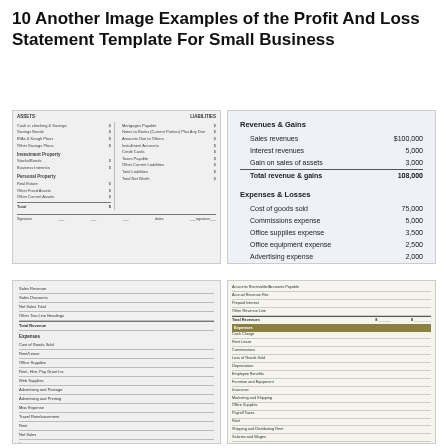10 Another Image Examples of the Profit And Loss Statement Template For Small Business
[Figure (table-as-image): Balance sheet style financial statement template with columns for Assets and Liabilities, with multiple line items and totals at bottom]
[Figure (table-as-image): Profit and loss statement showing Revenues & Gains (Sales revenues $100,000, Interest revenues 5,000, Gain on sales of assets 3,000, Total revenue & gains 108,000) and Expenses & Losses (Cost of goods sold 75,000, Commissions expense 5,000, Office supplies expense 3,500, Office equipment expense 2,500, Advertising expense 2,000, Interest expense 500, Loss from lawsuit 1,500)]
[Figure (table-as-image): Simple lined P&L template with rows for revenues and expenses including Rent, Advertising and Postage, Salaries, and other expense line items with blank value columns]
[Figure (table-as-image): Spreadsheet-style P&L template with olive/brown header for Expenses section, showing Total Revenues and Total Expenses rows with two value columns]